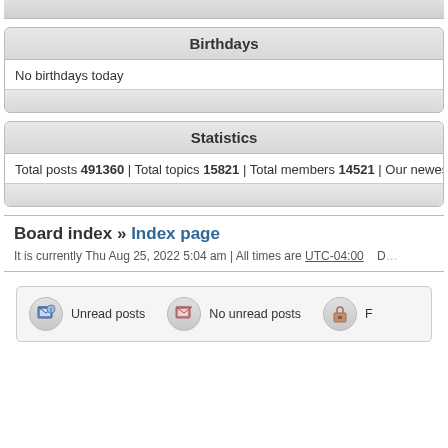Birthdays
No birthdays today
Statistics
Total posts 491360 | Total topics 15821 | Total members 14521 | Our newes
Board index » Index page
It is currently Thu Aug 25, 2022 5:04 am | All times are UTC-04:00
Unread posts   No unread posts   F